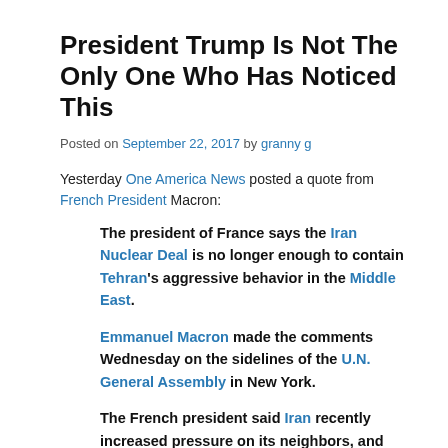President Trump Is Not The Only One Who Has Noticed This
Posted on September 22, 2017 by granny g
Yesterday One America News posted a quote from French President Macron:
The president of France says the Iran Nuclear Deal is no longer enough to contain Tehran's aggressive behavior in the Middle East.

Emmanuel Macron made the comments Wednesday on the sidelines of the U.N. General Assembly in New York.

The French president said Iran recently increased pressure on its neighbors, and has conducted several ballistic missile tests